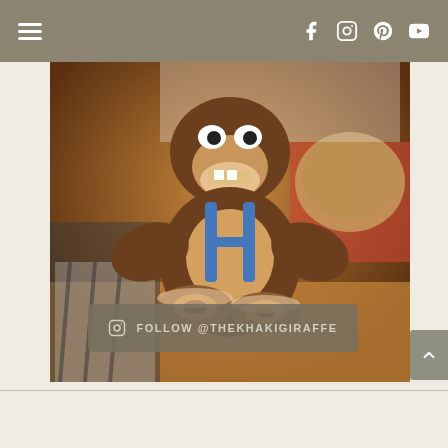Navigation bar with hamburger menu and social icons: Facebook, Instagram, Pinterest, YouTube
[Figure (photo): A Donkey Kong toy figure holding a donut, surrounded by various items on a wooden table. A call-to-action overlay reads: FOLLOW @THEKHAKIGIRAFFE with an Instagram icon.]
FOLLOW @THEKHAKIGIRAFFE